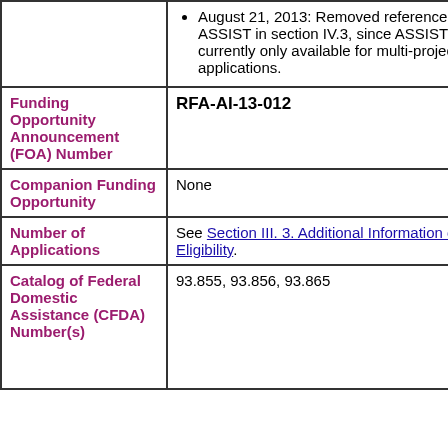| Field | Value |
| --- | --- |
|  | August 21, 2013: Removed reference to ASSIST in section IV.3, since ASSIST is currently only available for multi-project applications. |
| Funding Opportunity Announcement (FOA) Number | RFA-AI-13-012 |
| Companion Funding Opportunity | None |
| Number of Applications | See Section III. 3. Additional Information on Eligibility. |
| Catalog of Federal Domestic Assistance (CFDA) Number(s) | 93.855, 93.856, 93.865 |